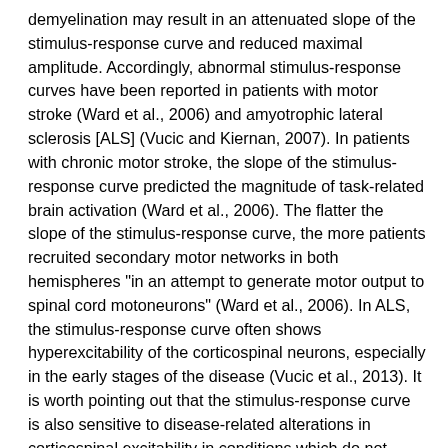demyelination may result in an attenuated slope of the stimulus-response curve and reduced maximal amplitude. Accordingly, abnormal stimulus-response curves have been reported in patients with motor stroke (Ward et al., 2006) and amyotrophic lateral sclerosis [ALS] (Vucic and Kiernan, 2007). In patients with chronic motor stroke, the slope of the stimulus-response curve predicted the magnitude of task-related brain activation (Ward et al., 2006). The flatter the slope of the stimulus-response curve, the more patients recruited secondary motor networks in both hemispheres "in an attempt to generate motor output to spinal cord motoneurons" (Ward et al., 2006). In ALS, the stimulus-response curve often shows hyperexcitability of the corticospinal neurons, especially in the early stages of the disease (Vucic et al., 2013). It is worth pointing out that the stimulus-response curve is also sensitive to disease-related alterations in corticospinal excitability in conditions which do not cause structural damage to the CST, e.g. Parkinson's disease (Valls-Sole, 1994) and dystonia (Siebner et al., 1999) (cf. Table 1). Practical